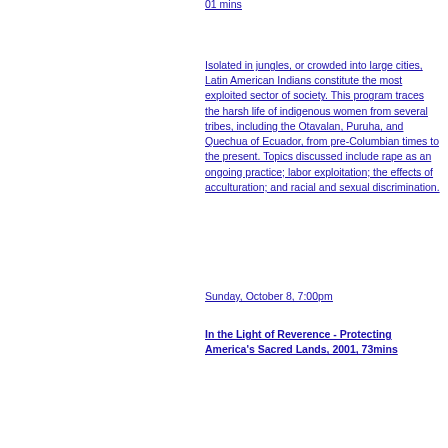Isolated in jungles, or crowded into large cities, Latin American Indians constitute the most exploited sector of society. This program traces the harsh life of indigenous women from several tribes, including the Otavalan, Puruha, and Quechua of Ecuador, from pre-Columbian times to the present. Topics discussed include rape as an ongoing practice; labor exploitation; the effects of acculturation; and racial and sexual discrimination.
Sunday, October 8, 7:00pm
In the Light of Reverence - Protecting America's Sacred Lands, 2001, 73mins
Directed by Christopher McLeod; Narrated by Peter Coyote and Tantoo Cardinal; Produced by the Sacred Land Film Project of Earth Island Institute
Across the United States, Native Americans